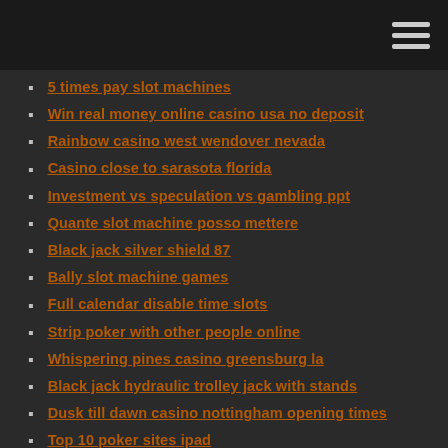5 times pay slot machines
Win real money online casino usa no deposit
Rainbow casino west wendover nevada
Casino close to sarasota florida
Investment vs speculation vs gambling ppt
Quante slot machine posso mettere
Black jack silver shield 87
Bally slot machine games
Full calendar disable time slots
Strip poker with other people online
Whispering pines casino greensburg la
Black jack hydraulic trolley jack with stands
Dusk till dawn casino nottingham opening times
Top 10 poker sites ipad